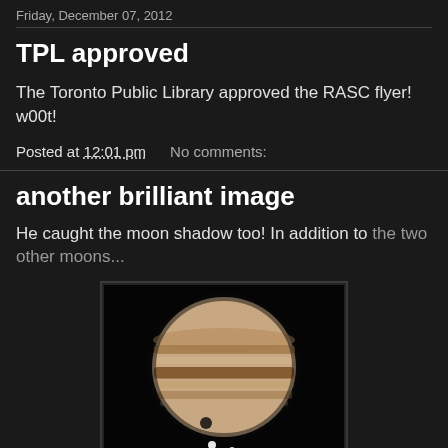Friday, December 07, 2012
TPL approved
The Toronto Public Library approved the RASC flyer! w00t!
Posted at 12:01 pm    No comments:
another brilliant image
He caught the moon shadow too! In addition to the two other moons...
[Figure (photo): Photograph of Jupiter showing cloud bands and a moon shadow visible as a small dark dot, with two bright moon points near the bottom edge, against a black background.]